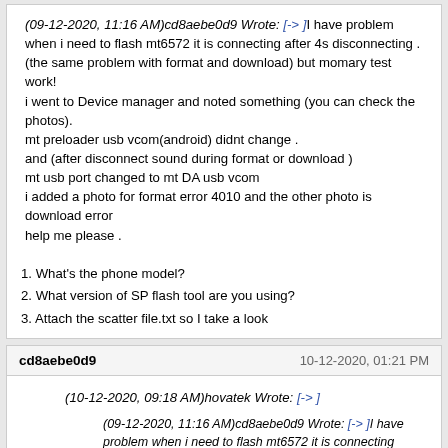(09-12-2020, 11:16 AM)cd8aebe0d9 Wrote: [-> ]I have problem when i need to flash mt6572 it is connecting after 4s disconnecting .(the same problem with format and download) but momary test work!
i went to Device manager and noted something (you can check the photos).
mt preloader usb vcom(android) didnt change .
and (after disconnect sound during format or download )
mt usb port changed to mt DA usb vcom
i added a photo for format error 4010 and the other photo is download error
help me please .
1. What's the phone model?
2. What version of SP flash tool are you using?
3. Attach the scatter file.txt so I take a look
cd8aebe0d9   10-12-2020, 01:21 PM
(10-12-2020, 09:18 AM)hovatek Wrote: [-> ]
(09-12-2020, 11:16 AM)cd8aebe0d9 Wrote: [-> ]I have problem when i need to flash mt6572 it is connecting after 4s disconnecting .(the same problem with